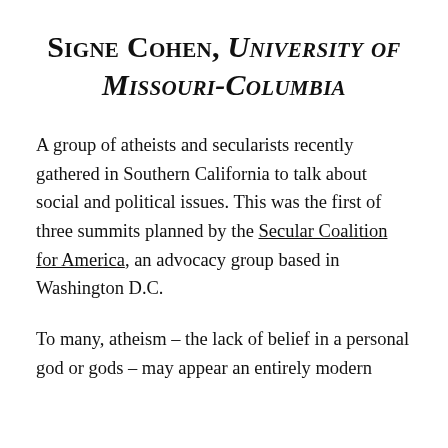Signe Cohen, University of Missouri-Columbia
A group of atheists and secularists recently gathered in Southern California to talk about social and political issues. This was the first of three summits planned by the Secular Coalition for America, an advocacy group based in Washington D.C.
To many, atheism – the lack of belief in a personal god or gods – may appear an entirely modern